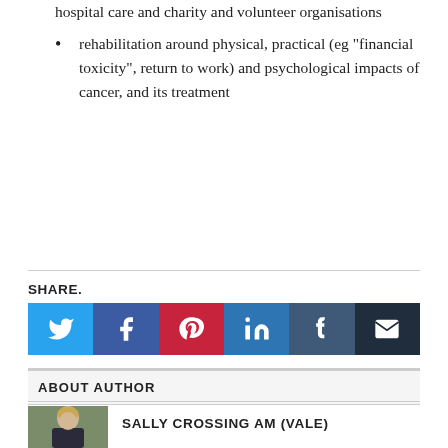hospital care and charity and volunteer organisations
rehabilitation around physical, practical (eg “financial toxicity”, return to work) and psychological impacts of cancer, and its treatment
[Figure (infographic): Social share buttons: Twitter, Facebook, Pinterest, LinkedIn, Tumblr, Email]
ABOUT AUTHOR
[Figure (photo): Headshot photo of Sally Crossing AM (Vale), a woman with blonde hair wearing a dark jacket]
SALLY CROSSING AM (VALE)